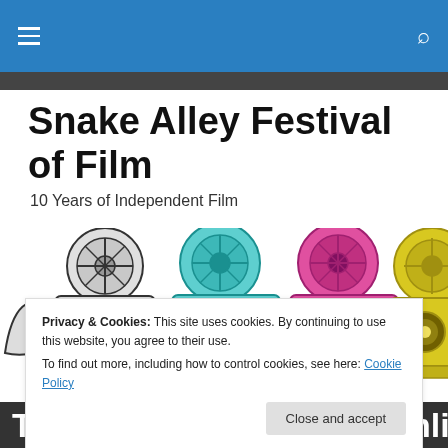Snake Alley Festival of Film — navigation bar
Snake Alley Festival of Film
10 Years of Independent Film
[Figure (illustration): Four vintage film projector cameras in a row, colored black/white, teal, magenta/pink, and yellow, with 'Snake Alley' text on the leftmost projector. Cartoon-style illustration.]
Privacy & Cookies: This site uses cookies. By continuing to use this website, you agree to their use.
To find out more, including how to control cookies, see here: Cookie Policy
The Legacy of Tom Laughlin